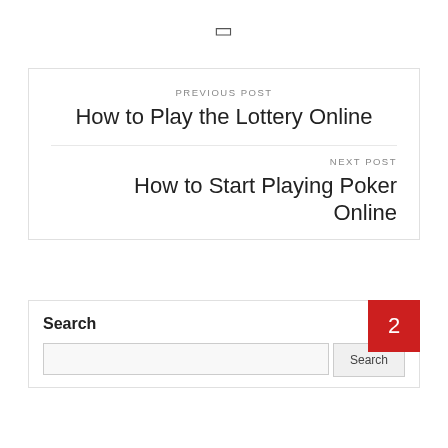[Figure (other): Small bracket/icon symbol centered at top]
PREVIOUS POST
How to Play the Lottery Online
NEXT POST
How to Start Playing Poker Online
Search
2